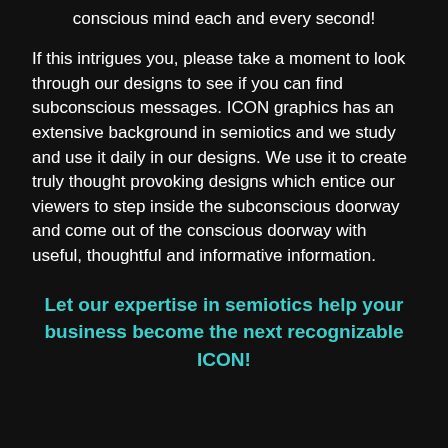conscious mind each and every second!
If this intrigues you, please take a moment to look through our designs to see if you can find subconscious messages. ICON graphics has an extensive background in semiotics and we study and use it daily in our designs. We use it to create truly thought provoking designs which entice our viewers to step inside the subconscious doorway and come out of the conscious doorway with useful, thoughtful and informative information.
Let our expertise in semiotics help your business become the next recognizable ICON!